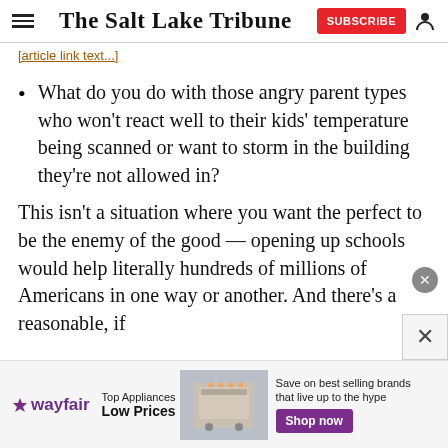The Salt Lake Tribune
[partial link text cut off at top]
What do you do with those angry parent types who won't react well to their kids' temperature being scanned or want to storm in the building they're not allowed in?
This isn't a situation where you want the perfect to be the enemy of the good — opening up schools would help literally hundreds of millions of Americans in one way or another. And there's a reasonable, if
[Figure (screenshot): Wayfair advertisement banner: Top Appliances Low Prices, Save on best selling brands that live up to the hype, Shop now button]